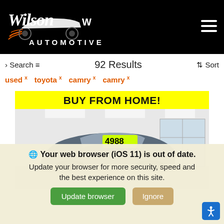[Figure (logo): Wilson Automotive logo with stylized car silhouette on black background]
› Search ≡   92 Results   ⇕ Sort
used ×   toyota ×   camry ×   camry ×
BUY FROM HOME!
[Figure (photo): Used Toyota Camry car displayed inside a dealership showroom with price sticker showing 4988]
Your web browser (iOS 11) is out of date. Update your browser for more security, speed and the best experience on this site.